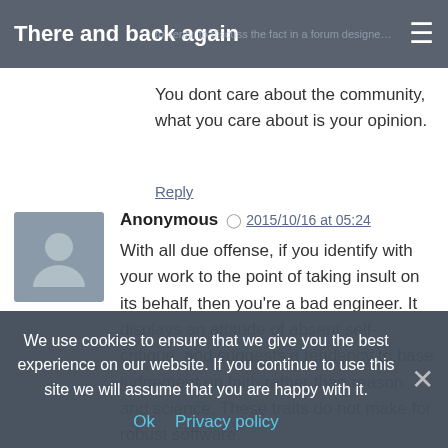There and back again
You dont care about the community, what you care about is your opinion.
Reply
Anonymous  2015/10/16 at 05:24
With all due offense, if you identify with your work to the point of taking insult on its behalf, then you're a bad engineer. It displays an attitude of absent self-critique, and suggests a tendency to base judgement on faith rather than reason and science. These traits do not make for robust software.

On the contrary, a good engineer does not fall in love with his own droppings. (Though I could in principle see this of german speakers, what with the international stereotype and everything.)
Reply
We use cookies to ensure that we give you the best experience on our website. If you continue to use this site we will assume that you are happy with it.
Ok  Privacy policy